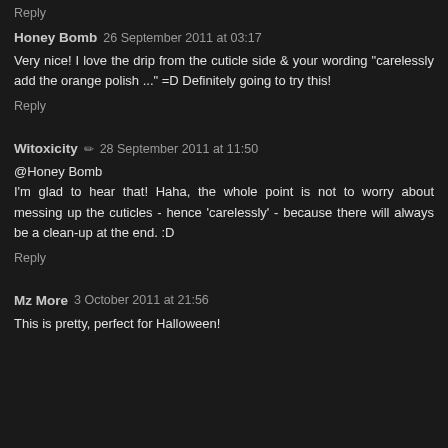Reply
Honey Bomb  26 September 2011 at 03:17
Very nice! I love the drip from the cuticle side & your wording "carelessly add the orange polish ..." =D Definitely going to try this!
Reply
Witoxicity  ✏  28 September 2011 at 11:50
@Honey Bomb
I'm glad to hear that! Haha, the whole point is not to worry about messing up the cuticles - hence 'carelessly' - because there will always be a clean-up at the end. :D
Reply
Mz More  3 October 2011 at 21:56
This is pretty, perfect for Halloween!